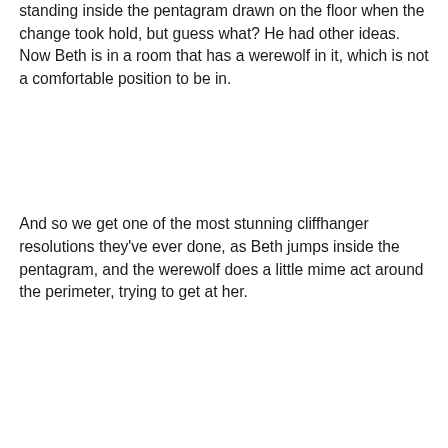standing inside the pentagram drawn on the floor when the change took hold, but guess what? He had other ideas. Now Beth is in a room that has a werewolf in it, which is not a comfortable position to be in.
And so we get one of the most stunning cliffhanger resolutions they've ever done, as Beth jumps inside the pentagram, and the werewolf does a little mime act around the perimeter, trying to get at her.
Continue reading →
💬 View all 26 comments
[Figure (photo): A person lying on the floor on stone tiles, viewed from above, appearing to be a scene from a TV show or film.]